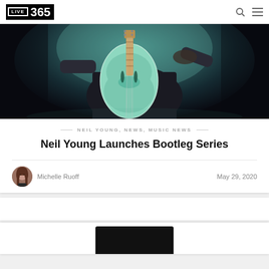LIVE 365
[Figure (photo): Person playing a hollow-body electric guitar (teal/green color) on a dark stage with blue/teal stage lighting]
— NEIL YOUNG, NEWS, MUSIC NEWS —
Neil Young Launches Bootleg Series
Michelle Ruoff   May 29, 2020